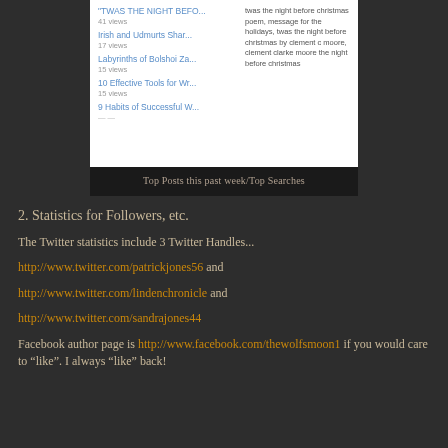[Figure (screenshot): Screenshot of a blog/website showing top posts this past week with view counts and top search terms. Posts listed: 'TWAS THE NIGHT BEFO...' (41 views), 'Irish and Udmurts Shar...' (17 views), 'Labyrinths of Bolshoi Za...' (15 views), '10 Effective Tools for Wr...' (15 views), '9 Habits of Successful W...' with search keywords about twas the night before christmas poem.]
Top Posts this past week/Top Searches
2.  Statistics for Followers, etc.
The Twitter statistics include 3 Twitter Handles...
http://www.twitter.com/patrickjones56 and
http://www.twitter.com/lindenchronicle and
http://www.twitter.com/sandrajones44
Facebook author page is http://www.facebook.com/thewolfsmoon1 if you would care to “like”.  I always “like” back!